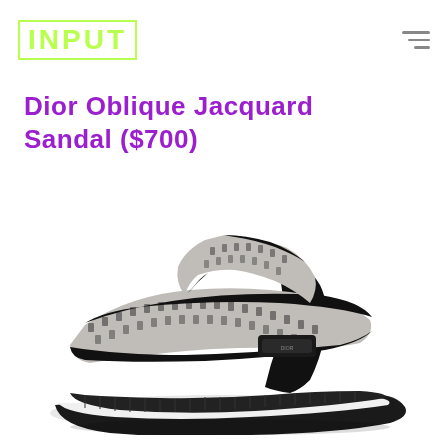INPUT
Dior Oblique Jacquard Sandal ($700)
[Figure (photo): Dior Oblique Jacquard Sandal shown from a three-quarter angle. The sandal has a black and grey/white monogram jacquard fabric upper with two adjustable velcro straps trimmed in black leather. The footbed is black with a thick black and white EVA/rubber sole. The Dior oblique pattern is visible on the straps.]